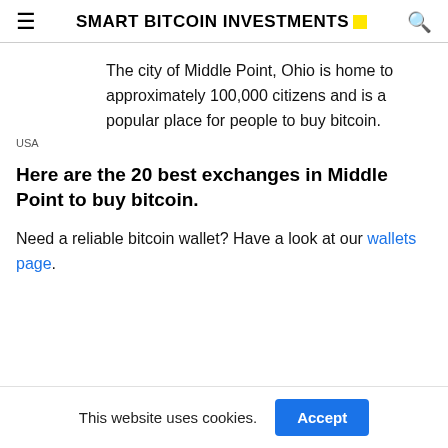SMART BITCOIN INVESTMENTS
The city of Middle Point, Ohio is home to approximately 100,000 citizens and is a popular place for people to buy bitcoin.
USA
Here are the 20 best exchanges in Middle Point to buy bitcoin.
Need a reliable bitcoin wallet? Have a look at our wallets page.
This website uses cookies.